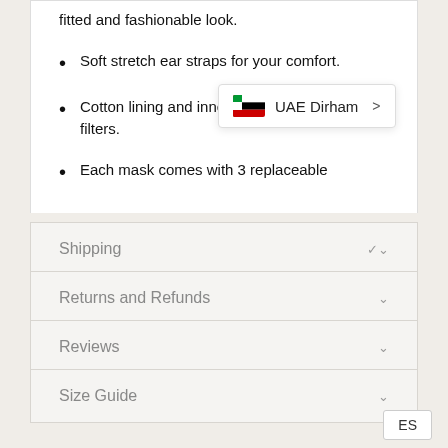fitted and fashionable look.
Soft stretch ear straps for your comfort.
Cotton lining and inner pouch for replaceable filters.
Each mask comes with 3 replaceable
UAE Dirham (currency popup overlay)
Shipping
Returns and Refunds
Reviews
Size Guide
ES